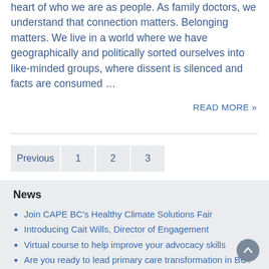heart of who we are as people. As family doctors, we understand that connection matters. Belonging matters. We live in a world where we have geographically and politically sorted ourselves into like-minded groups, where dissent is silenced and facts are consumed …
READ MORE »
Join CAPE BC's Healthy Climate Solutions Fair
Introducing Cait Wills, Director of Engagement
Virtual course to help improve your advocacy skills
Are you ready to lead primary care transformation in BC?